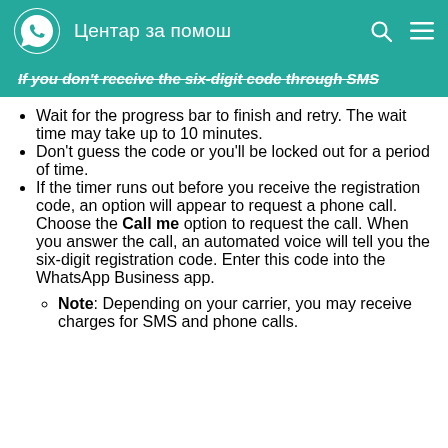Центар за помош
If you don't receive the six-digit code through SMS
Wait for the progress bar to finish and retry. The wait time may take up to 10 minutes.
Don't guess the code or you'll be locked out for a period of time.
If the timer runs out before you receive the registration code, an option will appear to request a phone call. Choose the Call me option to request the call. When you answer the call, an automated voice will tell you the six-digit registration code. Enter this code into the WhatsApp Business app.
Note: Depending on your carrier, you may receive charges for SMS and phone calls.